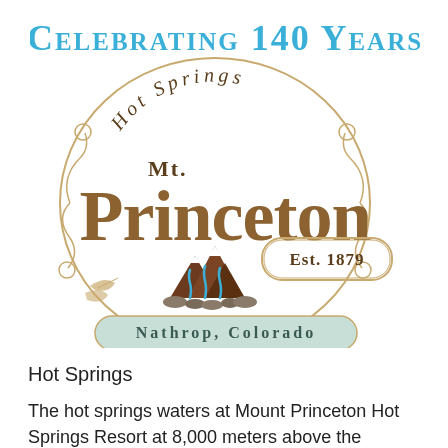[Figure (logo): Mt. Princeton Hot Springs logo. Text reads 'Celebrating 140 Years' in blue at top, then 'Hot Springs' in brown italic, 'Mt. Princeton' in large brown serif letters, 'Est. 1879' in a badge, 'Nathrop, Colorado' in a light blue banner at bottom. Decorative ornamental scrollwork and mountain/hot springs illustration in center.]
Hot Springs
The hot springs waters at Mount Princeton Hot Springs Resort at 8,000 meters above the